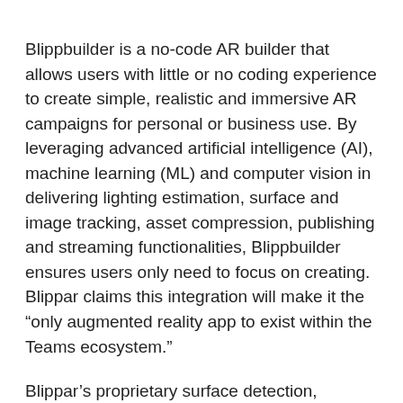Blippbuilder is a no-code AR builder that allows users with little or no coding experience to create simple, realistic and immersive AR campaigns for personal or business use. By leveraging advanced artificial intelligence (AI), machine learning (ML) and computer vision in delivering lighting estimation, surface and image tracking, asset compression, publishing and streaming functionalities, Blippbuilder ensures users only need to focus on creating. Blippar claims this integration will make it the “only augmented reality app to exist within the Teams ecosystem.”
Blippar’s proprietary surface detection, combined with its SLAM-enabled drag and drop functionality, will allow creators to drop objects into a project and publish as it is. This will guarantee that users can create interactive and immersive AR experiences regardless of their coding experience, according to